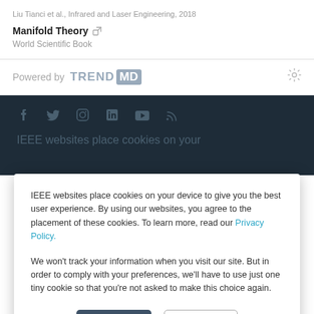Liu Tianci et al., Infrared and Laser Engineering, 2018
Manifold Theory
World Scientific Book
[Figure (logo): Powered by TRENDMD logo with gear icon]
[Figure (other): Dark footer bar with social icons (Facebook, Twitter, Instagram, LinkedIn, YouTube, RSS) and partial IEEE cookie notice text]
IEEE websites place cookies on your device to give you the best user experience. By using our websites, you agree to the placement of these cookies. To learn more, read our Privacy Policy.
We won't track your information when you visit our site. But in order to comply with your preferences, we'll have to use just one tiny cookie so that you're not asked to make this choice again.